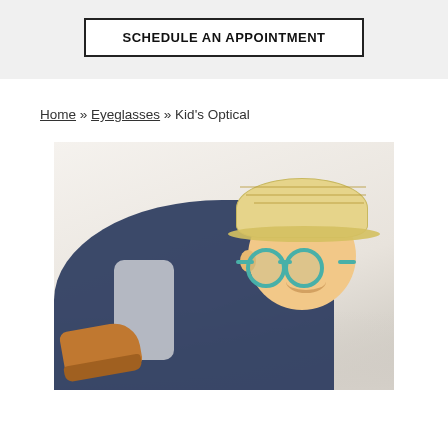SCHEDULE AN APPOINTMENT
Home » Eyeglasses » Kid's Optical
[Figure (photo): A smiling young boy wearing round teal/blue eyeglasses and a straw hat, dressed in a navy blue spotted shirt, lying on a light carpet with brown shoes, photographed against a white draped background.]